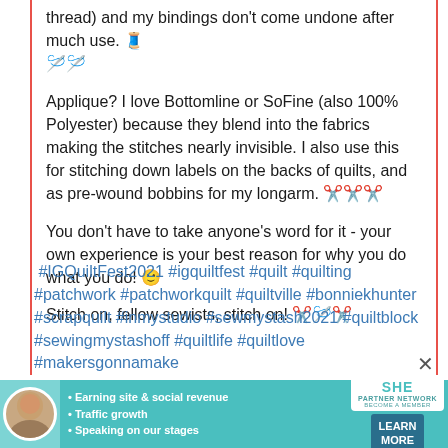thread) and my bindings don't come undone after much use. 🧵🪡
Applique?  I love Bottomline or SoFine (also 100% Polyester) because they blend into the fabrics making the stitches nearly invisible.  I also use this for stitching down labels on the backs of quilts, and as pre-wound bobbins for my longarm. ✂️✂️✂️
You don't have to take anyone's word for it - your own experience is your best reason for why you do what you do! 🙂
Stitch on, fellow sewists, stitch on! ✂️🪡✂️
#IGQuiltFest2021 #igquiltfest #quilt #quilting #patchwork #patchworkquilt #quiltville #bonniekhunter #scrapquilt #inmystudio #sewmystash2021 #quiltblock #sewingmystashoff #quiltlife #quiltlove #makersgonnamake
[Figure (infographic): SHE Partner Network advertisement banner with woman photo, bullet points about earning site & social revenue, traffic growth, speaking on stages, SHE logo, and LEARN MORE button]